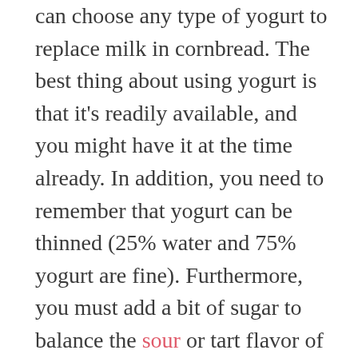can choose any type of yogurt to replace milk in cornbread. The best thing about using yogurt is that it's readily available, and you might have it at the time already. In addition, you need to remember that yogurt can be thinned (25% water and 75% yogurt are fine). Furthermore, you must add a bit of sugar to balance the sour or tart flavor of yogurt. Once it's mixed with sugar and thinned, you can opt for a 1:1 substitution ratio.